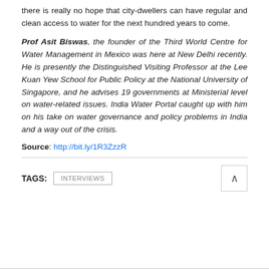there is really no hope that city-dwellers can have regular and clean access to water for the next hundred years to come.
Prof Asit Biswas, the founder of the Third World Centre for Water Management in Mexico was here at New Delhi recently. He is presently the Distinguished Visiting Professor at the Lee Kuan Yew School for Public Policy at the National University of Singapore, and he advises 19 governments at Ministerial level on water-related issues. India Water Portal caught up with him on his take on water governance and policy problems in India and a way out of the crisis.
Source: http://bit.ly/1R3ZzzR
TAGS: INTERVIEWS